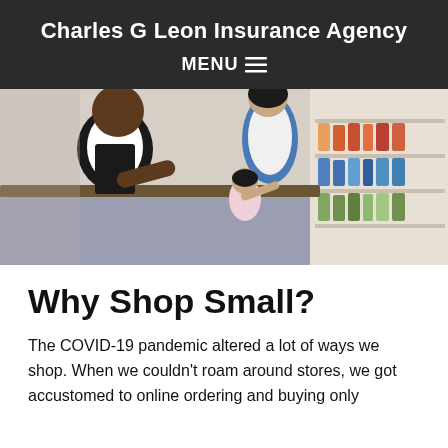Charles G Leon Insurance Agency
MENU
[Figure (photo): A store employee behind a counter hands something to a young child, while the child's mother stands nearby smiling. Store shelves with products are visible in the background.]
Why Shop Small?
The COVID-19 pandemic altered a lot of ways we shop. When we couldn't roam around stores, we got accustomed to online ordering and buying only